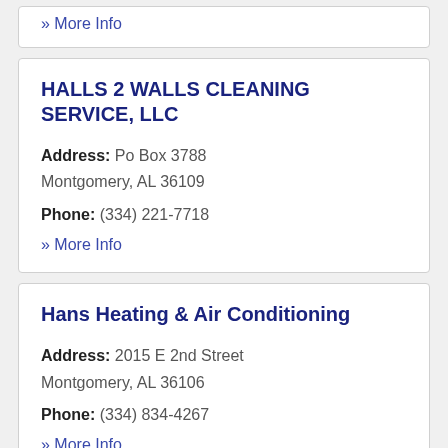» More Info
HALLS 2 WALLS CLEANING SERVICE, LLC
Address: Po Box 3788
Montgomery, AL 36109
Phone: (334) 221-7718
» More Info
Hans Heating & Air Conditioning
Address: 2015 E 2nd Street
Montgomery, AL 36106
Phone: (334) 834-4267
» More Info